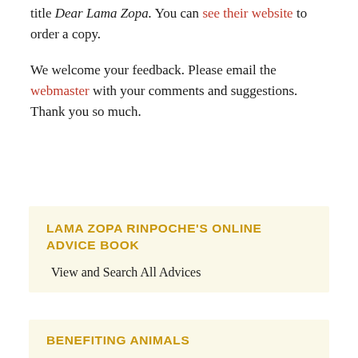title Dear Lama Zopa. You can see their website to order a copy.
We welcome your feedback. Please email the webmaster with your comments and suggestions. Thank you so much.
LAMA ZOPA RINPOCHE'S ONLINE ADVICE BOOK
View and Search All Advices
BENEFITING ANIMALS